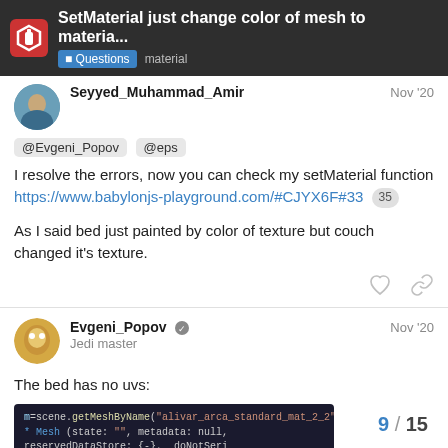SetMaterial just change color of mesh to materia... | Questions material
Seyyed_Muhammad_Amir  Nov '20
@Evgeni_Popov @eps
I resolve the errors, now you can check my setMaterial function https://www.babylonjs-playground.com/#CJYX6F#33  35
As I said bed just painted by color of texture but couch changed it's texture.
Evgeni_Popov  Nov '20
Jedi master
The bed has no uvs:
[Figure (screenshot): Code screenshot showing JavaScript/TypeScript code snippet with mesh and UV data queries]
9 / 15